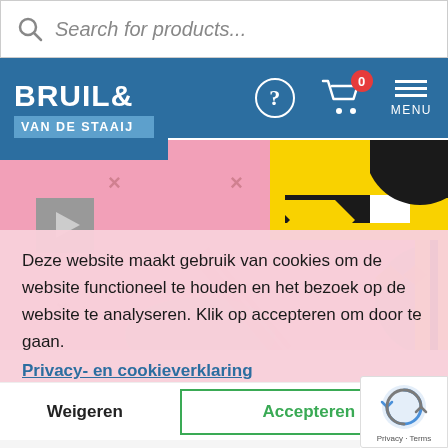[Figure (screenshot): Search bar with magnifying glass icon and italic placeholder text 'Search for products...']
[Figure (screenshot): Navigation bar with Bruil & Van de Staaij logo (blue background), help icon (circle with ?), shopping cart icon with red badge showing 0, and hamburger menu with MENU label]
[Figure (illustration): Decorative pop-art background with pink, yellow, black, white and grey geometric shapes including chevrons, triangles, circles, diamonds, and X marks]
Deze website maakt gebruik van cookies om de website functioneel te houden en het bezoek op de website te analyseren. Klik op accepteren om door te gaan.
Privacy- en cookieverklaring
Weigeren
Accepteren
[Figure (screenshot): reCAPTCHA badge with spinning arrows icon and 'Privacy - Terms' text]
[Figure (screenshot): Bottom strip showing partial product images with number 7,/8 visible]